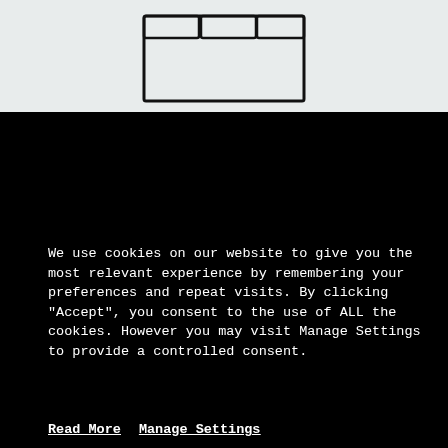[Figure (illustration): Hand-drawn sketch of a browser window with tabs, on a light gray background]
We use cookies on our website to give you the most relevant experience by remembering your preferences and repeat visits. By clicking “Accept”, you consent to the use of ALL the cookies. However you may visit Manage Settings to provide a controlled consent.
Read More    Manage Settings
ACCEPT